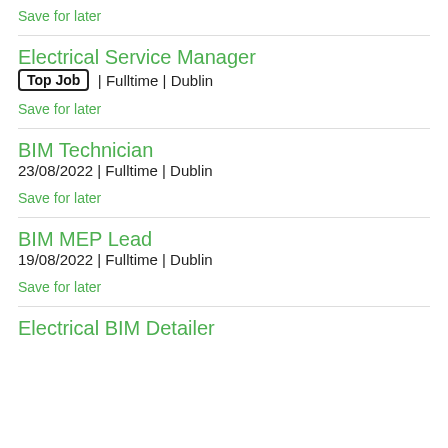Save for later
Electrical Service Manager
Top Job | Fulltime | Dublin
Save for later
BIM Technician
23/08/2022 | Fulltime | Dublin
Save for later
BIM MEP Lead
19/08/2022 | Fulltime | Dublin
Save for later
Electrical BIM Detailer